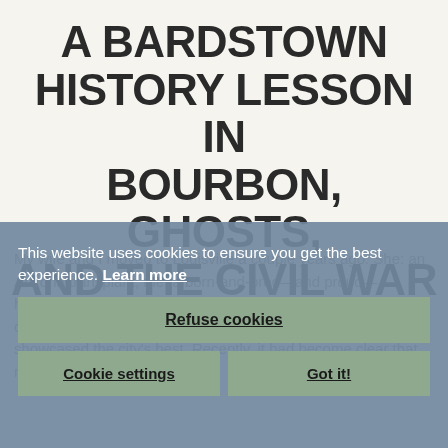A BARDSTOWN HISTORY LESSON IN BOURBON, GHOSTS, AND THE CIVIL WAR
My wife and I moved to Louisville a couple years ago. She: an Arizona transplant; me: a born-and-bred—and proud—hometown boy who'd like to think that I won her over with my cracking wit and local Louisville knowledge, our dates always showcased the city's best. Recently, it had become clear that my Arizona gal had become from which local discoveries were now
This website uses cookies to ensure you get the best experience. Learn more
Refuse cookies
Cookie settings
Got it!